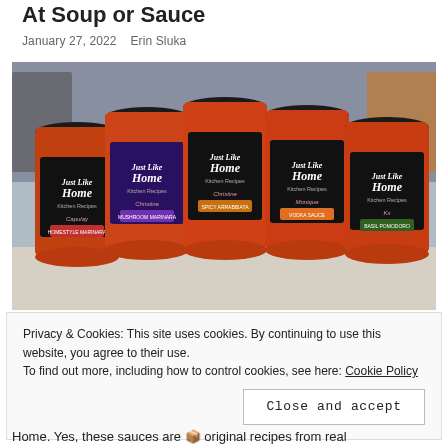At Soup or Sauce
January 27, 2022   Erin Sluka
[Figure (photo): Five jars of 'Just Like Home Kitchen Recipes' pasta sauce with black labels, arranged on a white surface with kitchen items in background.]
Privacy & Cookies: This site uses cookies. By continuing to use this website, you agree to their use.
To find out more, including how to control cookies, see here: Cookie Policy
[Close and accept button]
Home. Yes, these sauces are 🍅 original recipes from real